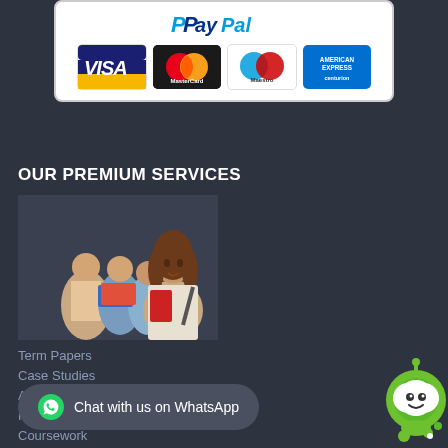[Figure (logo): Payment methods box showing PayPal logo and credit card logos: VISA, MasterCard, Maestro, American Express]
OUR PREMIUM SERVICES
[Figure (photo): Group of students studying together, with a young woman in the foreground holding red books and a backpack]
Term Papers
Case Studies
Annotated Bibliographies
PowerPoint Presentation
Coursework
[Figure (infographic): WhatsApp chat button bar with text 'Chat with us on WhatsApp']
[Figure (illustration): Green chat bot icon in bottom right corner]